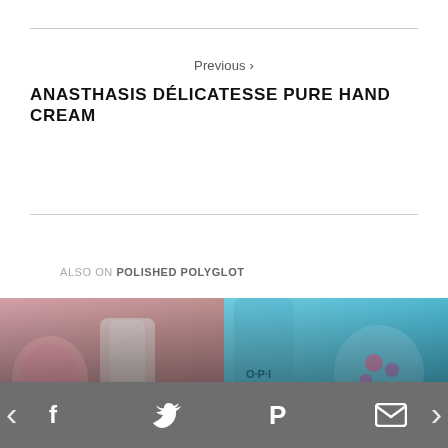Previous >
ANASTHASIS DÉLICATESSE PURE HAND CREAM
ALSO ON POLISHED POLYGLOT
[Figure (photo): Nail art photo showing painted nails and OPI nail polish bottle with text overlay: 'rs ago • 5 comments / Nail Art | 14 Valentines Day Nail Art ideas']
[Figure (photo): Nail art photo showing floral manicure and OPI nail polish bottle in teal with text overlay: '2 years ago • 10 c... / Nail Art | Floral Manicure to cheer us up!']
f  Twitter  P  Email (social share bar)